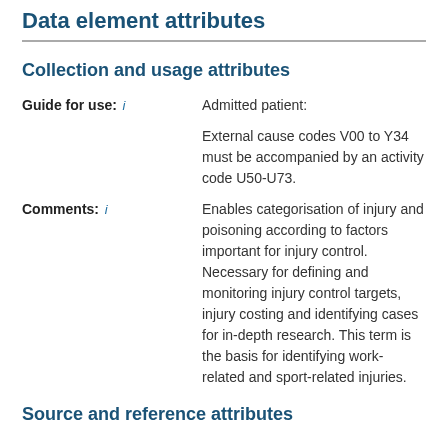Data element attributes
Collection and usage attributes
Guide for use: i — Admitted patient: External cause codes V00 to Y34 must be accompanied by an activity code U50-U73.
Comments: i — Enables categorisation of injury and poisoning according to factors important for injury control. Necessary for defining and monitoring injury control targets, injury costing and identifying cases for in-depth research. This term is the basis for identifying work-related and sport-related injuries.
Source and reference attributes